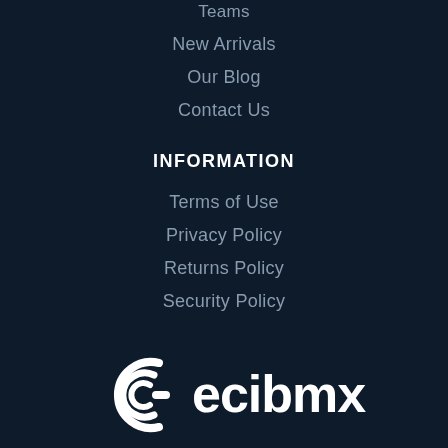Teams
New Arrivals
Our Blog
Contact Us
INFORMATION
Terms of Use
Privacy Policy
Returns Policy
Security Policy
[Figure (logo): ecibmx logo — stylized C/G icon followed by text 'ecibmx' in white on dark background]
03 5964 7771
gary@eciimports.com